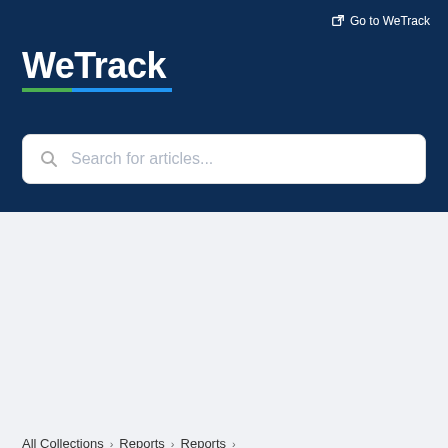Go to WeTrack
WeTrack
Search for articles...
All Collections > Reports > Reports
Introduction to Reports
Introduction to Reports
Reporting in WeTrack
Written by Alex Beck
Updated over a week ago